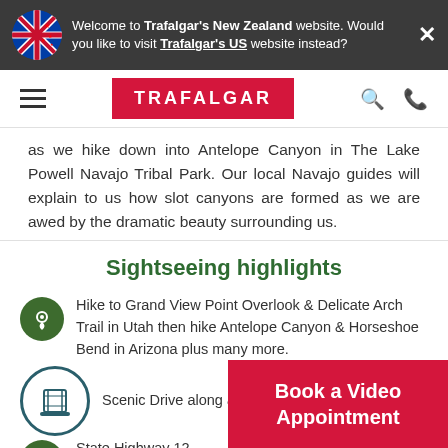Welcome to Trafalgar's New Zealand website. Would you like to visit Trafalgar's US website instead?
[Figure (logo): Trafalgar red logo on navigation bar]
as we hike down into Antelope Canyon in The Lake Powell Navajo Tribal Park. Our local Navajo guides will explain to us how slot canyons are formed as we are awed by the dramatic beauty surrounding us.
Sightseeing highlights
Hike to Grand View Point Overlook & Delicate Arch Trail in Utah then hike Antelope Canyon & Horseshoe Bend in Arizona plus many more.
Scenic Drive along an… State Highway 12
Book a Video Appointment